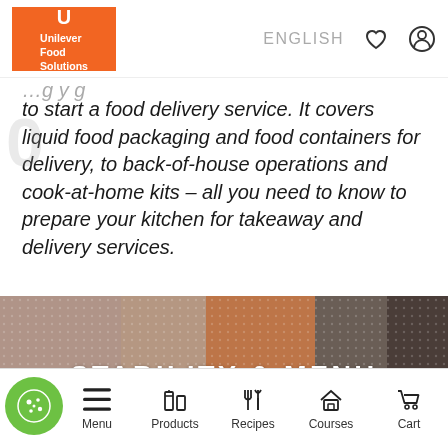Unilever Food Solutions — ENGLISH
to start a food delivery service. It covers liquid food packaging and food containers for delivery, to back-of-house operations and cook-at-home kits – all you need to know to prepare your kitchen for takeaway and delivery services.
[Figure (photo): Blurred banner image showing food delivery containers/packaging tiles in muted brown, orange, and dark tones]
STABILITY & MENU
Menu | Products | Recipes | Courses | Cart